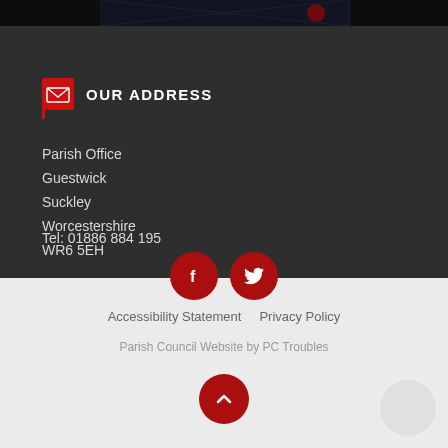[Figure (photo): Dark photo strip at top of page showing a night scene]
OUR ADDRESS
Parish Office
Guestwick
Suckley
Worcestershire
WR6 5EH
Tel: 01886 884 195
[Figure (infographic): Red circular Facebook icon and red circular Twitter icon]
Accessibility Statement   Privacy Policy
Parish Council Website by PC Troubles